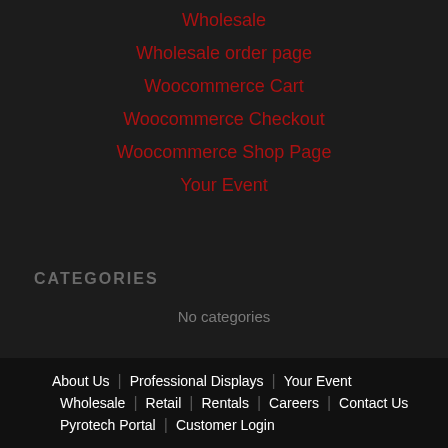Wholesale
Wholesale order page
Woocommerce Cart
Woocommerce Checkout
Woocommerce Shop Page
Your Event
CATEGORIES
No categories
About Us | Professional Displays | Your Event | Wholesale | Retail | Rentals | Careers | Contact Us | Pyrotech Portal | Customer Login